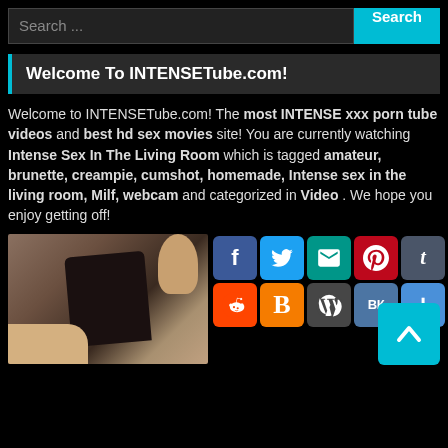Search ...  Search
Welcome To INTENSETube.com!
Welcome to INTENSETube.com! The most INTENSE xxx porn tube videos and best hd sex movies site! You are currently watching Intense Sex In The Living Room which is tagged amateur, brunette, creampie, cumshot, homemade, Intense sex in the living room, Milf, webcam and categorized in Video . We hope you enjoy getting off!
[Figure (screenshot): Video thumbnail showing adult content]
[Figure (infographic): Social sharing icons: Facebook, Twitter, Email, Pinterest, Tumblr, Reddit, Blogger, WordPress, VK, More, and a scroll-to-top button]